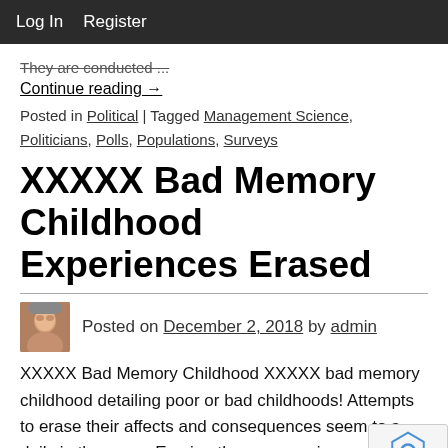Log In   Register
They are conducted ...
Continue reading →
Posted in Political | Tagged Management Science, Politicians, Polls, Populations, Surveys
XXXXX Bad Memory Childhood Experiences Erased
Posted on December 2, 2018 by admin
XXXXX Bad Memory Childhood XXXXX bad memory childhood detailing poor or bad childhoods! Attempts to erase their affects and consequences seem to a... daily in the news. Erasing those memories and a... in...